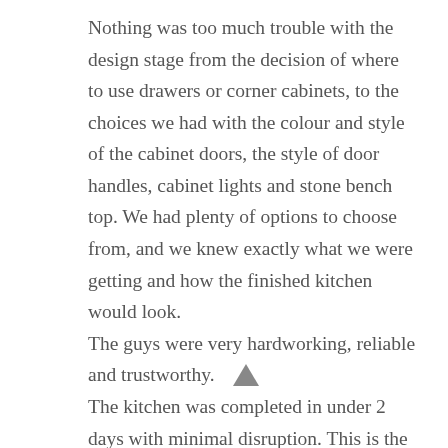Nothing was too much trouble with the design stage from the decision of where to use drawers or corner cabinets, to the choices we had with the colour and style of the cabinet doors, the style of door handles, cabinet lights and stone bench top. We had plenty of options to choose from, and we knew exactly what we were getting and how the finished kitchen would look. The guys were very hardworking, reliable and trustworthy. The kitchen was completed in under 2 days with minimal disruption. This is the second time we have used Harlequin Cabinets for work around the home.